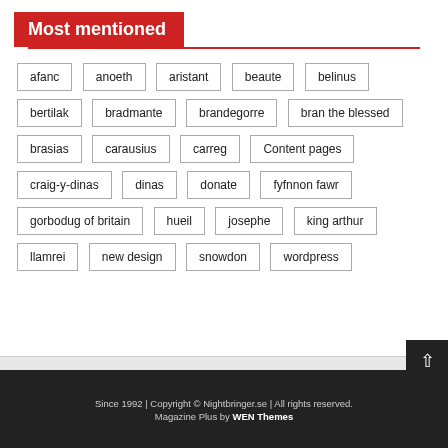Most mentioned
afanc
anoeth
aristant
beaute
belinus
bertilak
bradmante
brandegorre
bran the blessed
brasias
carausius
carreg
Content pages
craig-y-dinas
dinas
donate
fyfnnon fawr
gorbodug of britain
hueil
josephe
king arthur
llamrei
new design
snowdon
wordpress
Since 1992 | Copyright © Nightbringer.se | All rights reserved. Magazine Plus by WEN Themes